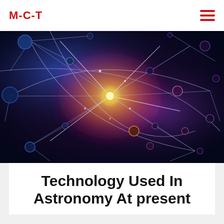M-C-T
[Figure (illustration): Abstract cosmic network visualization with glowing nodes and connecting lines on a dark blue/purple/red background, resembling a neural or particle network in space.]
Technology Used In Astronomy At present